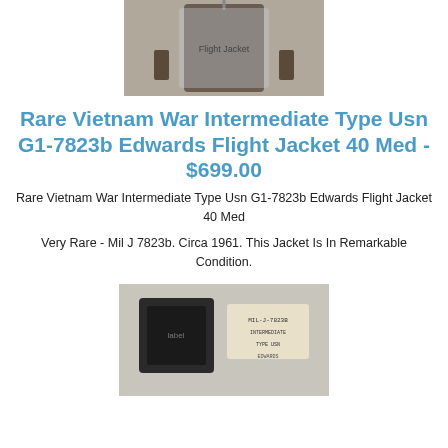[Figure (photo): Photo of a flight jacket hanging on a rack, covered in plastic dry-cleaning bag]
Rare Vietnam War Intermediate Type Usn G1-7823b Edwards Flight Jacket 40 Med - $699.00
Rare Vietnam War Intermediate Type Usn G1-7823b Edwards Flight Jacket 40 Med
Very Rare - Mil J 7823b. Circa 1961. This Jacket Is In Remarkable Condition.
[Figure (photo): Close-up photo of jacket label/tag area showing military specification tag]